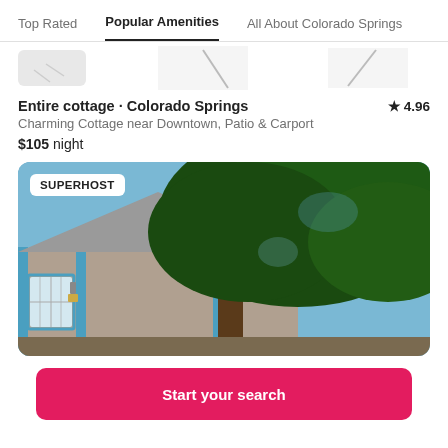Top Rated | Popular Amenities | All About Colorado Springs
[Figure (screenshot): Partial thumbnail strip showing cropped property images]
Entire cottage · Colorado Springs ★ 4.96
Charming Cottage near Downtown, Patio & Carport
$105 night
[Figure (photo): Photo of a charming cottage with blue trim, white windows, and a large tree in the foreground. SUPERHOST badge visible in top-left.]
Start your search